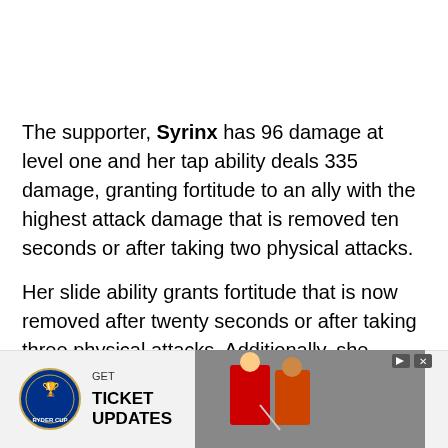The supporter, Syrinx has 96 damage at level one and her tap ability deals 335 damage, granting fortitude to an ally with the highest attack damage that is removed ten seconds or after taking two physical attacks.
Her slide ability grants fortitude that is now removed after twenty seconds or after taking three physical attacks. Additionally, she grants 141 HP every two seconds to two allies with the lowest HP for fourteen seconds.
Her Drive skill is a bit disappointing for a 5-star
[Figure (other): Advertisement banner for Ryder Cup ticket updates, showing the Ryder Cup logo, text 'GET TICKET UPDATES', and a photo of golfers.]